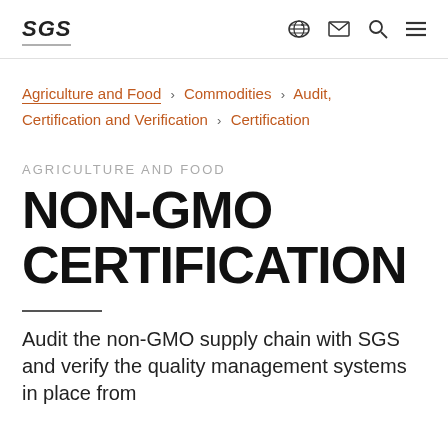SGS | Agriculture and Food › Commodities › Audit, Certification and Verification › Certification
AGRICULTURE AND FOOD
NON-GMO CERTIFICATION
Audit the non-GMO supply chain with SGS and verify the quality management systems in place from